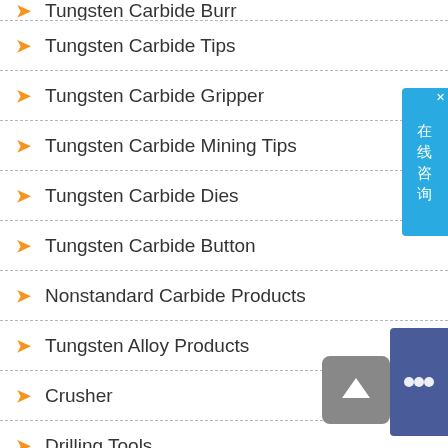Tungsten Carbide Burr (partial, top)
Tungsten Carbide Tips
Tungsten Carbide Gripper
Tungsten Carbide Mining Tips
Tungsten Carbide Dies
Tungsten Carbide Button
Nonstandard Carbide Products
Tungsten Alloy Products
Crusher
Drilling Tools